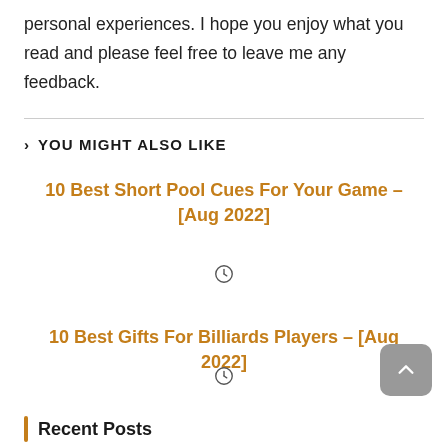personal experiences. I hope you enjoy what you read and please feel free to leave me any feedback.
YOU MIGHT ALSO LIKE
10 Best Short Pool Cues For Your Game – [Aug 2022]
10 Best Gifts For Billiards Players – [Aug 2022]
Recent Posts